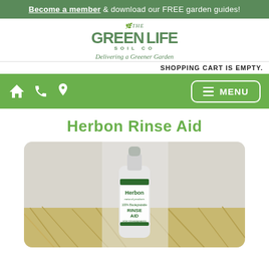Become a member & download our FREE garden guides!
[Figure (logo): The Green Life Soil Co logo with tagline 'Delivering a Greener Garden']
SHOPPING CART IS EMPTY.
[Figure (infographic): Green navigation bar with home, phone, location icons on left and MENU button on right]
Herbon Rinse Aid
[Figure (photo): Herbon natural products 100% Biodegradable Rinse Aid for Dishwashers bottle on hay background]